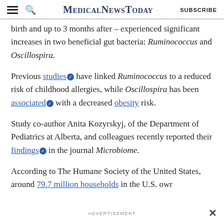MedicalNewsToday | SUBSCRIBE
birth and up to 3 months after – experienced significant increases in two beneficial gut bacteria: Ruminococcus and Oscillospira.
Previous studies have linked Ruminococcus to a reduced risk of childhood allergies, while Oscillospira has been associated with a decreased obesity risk.
Study co-author Anita Kozyrskyj, of the Department of Pediatrics at Alberta, and colleagues recently reported their findings in the journal Microbiome.
According to The Humane Society of the United States, around 79.7 million households in the U.S. own
ADVERTISEMENT